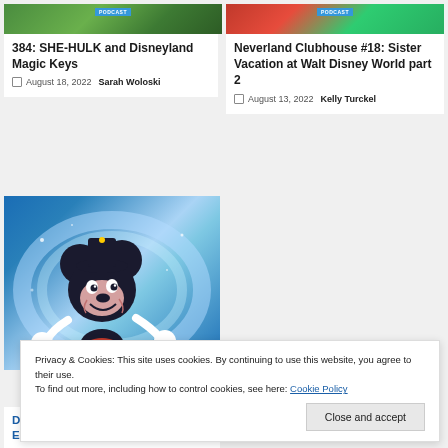[Figure (photo): Top portion of a nature/green background image with a blue badge label]
[Figure (photo): Top portion of a colorful image with red and green elements and a blue badge label]
384: SHE-HULK and Disneyland Magic Keys
August 18, 2022  Sarah Woloski
Neverland Clubhouse #18: Sister Vacation at Walt Disney World part 2
August 13, 2022  Kelly Turckel
[Figure (illustration): Mickey Mouse character on a blue glowing background with sparkles and rainbow arc]
D23 Expo 2022: Everything Marvel
Privacy & Cookies: This site uses cookies. By continuing to use this website, you agree to their use.
To find out more, including how to control cookies, see here: Cookie Policy
Close and accept